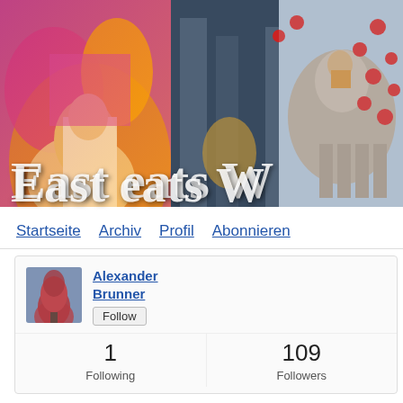[Figure (photo): Blog header banner showing collage of Asian cultural images: Indian wedding ceremony on left with colorful traditional dress, city street scene in middle, decorated elephant with red ornaments on right. Text overlay reads 'East eats W' (truncated).]
East eats W
Startseite   Archiv   Profil   Abonnieren
« June 2010 | Ma
[Figure (photo): Sidebar profile widget showing Alexander Brunner with a profile photo of a red tree, Follow button, 1 Following and 109 Followers stats.]
Alexander Brunner
Follow
1
Following
109
Followers
JULY 23, 2010
Best Peking Duck restauran
[Figure (photo): Restaurant interior photo showing decorative wooden lattice panel in gold/amber tones.]